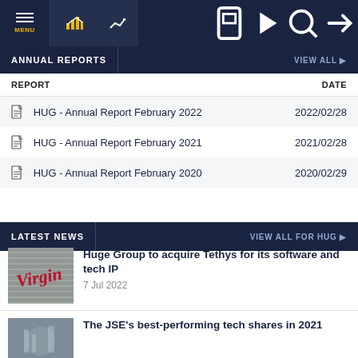MENU [navigation bar with icons]
ANNUAL REPORTS | VIEW ALL ▶
| REPORT | DATE |
| --- | --- |
| HUG - Annual Report February 2022 | 2022/02/28 |
| HUG - Annual Report February 2021 | 2021/02/28 |
| HUG - Annual Report February 2020 | 2020/02/29 |
LATEST NEWS | VIEW ALL FOR HUG ▶
[Figure (photo): Virgin logo red on grey blinds background]
Huge Group to acquire Tethys for its software and tech IP
7 Jul 2022
[Figure (photo): Technology/city blurred photo]
The JSE's best-performing tech shares in 2021